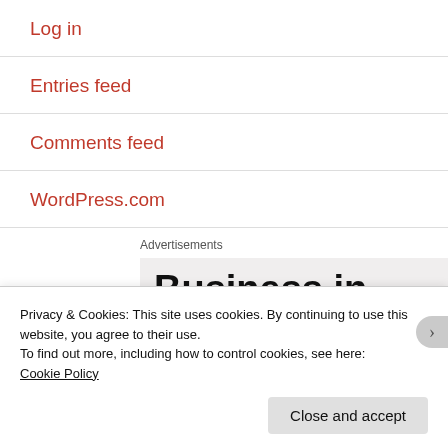Log in
Entries feed
Comments feed
WordPress.com
Advertisements
[Figure (other): Advertisement box showing large bold text 'Business in' with more text cut off below]
Privacy & Cookies: This site uses cookies. By continuing to use this website, you agree to their use.
To find out more, including how to control cookies, see here:
Cookie Policy
Close and accept